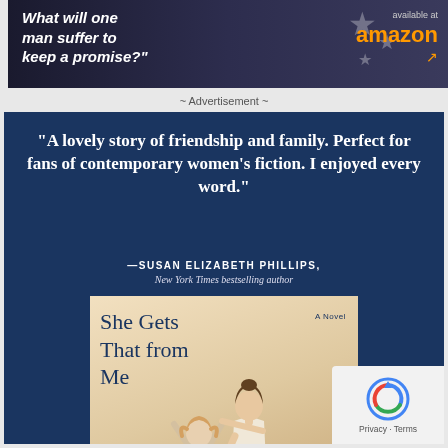[Figure (illustration): Top advertisement banner with dark navy/military background with stars, italic text reading 'What will one man suffer to keep a promise?' on the left, and Amazon logo with 'available at' text on the right]
~ Advertisement ~
[Figure (illustration): Book advertisement on dark navy background featuring a quote: 'A lovely story of friendship and family. Perfect for fans of contemporary women's fiction. I enjoyed every word.' attributed to Susan Elizabeth Phillips, New York Times bestselling author. Below is the book cover for 'She Gets That from Me - A Novel' showing two figures (adult and child) on a warm-toned cover.]